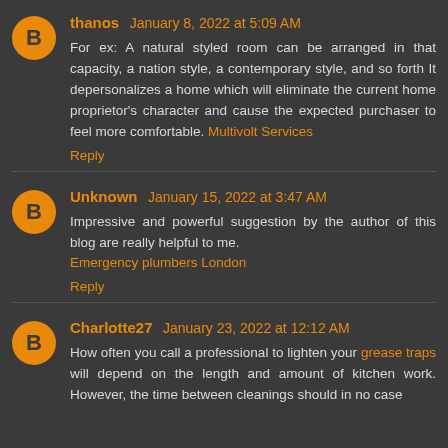thanos January 8, 2022 at 5:09 AM
For ex: A natural styled room can be arranged in that capacity, a nation style, a contemporary style, and so forth It depersonalizes a home which will eliminate the current home proprietor's character and cause the expected purchaser to feel more comfortable. Multivolt Services
Reply
Unknown January 15, 2022 at 3:47 AM
Impressive and powerful suggestion by the author of this blog are really helpful to me. Emergency plumbers London
Reply
Charlotte27 January 23, 2022 at 12:12 AM
How often you call a professional to lighten your grease traps will depend on the length and amount of kitchen work. However, the time between cleanings should in no case